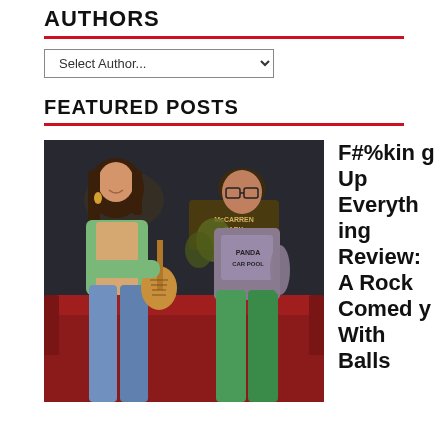AUTHORS
Select Author...
FEATURED POSTS
[Figure (photo): Two performers sitting on a red couch on a stage set. A woman on the left plays a small ukulele and wears a green cardigan and jeans. A man on the right wears a plaid shirt over a t-shirt that reads 'PANDA CAR POOL' and green pants. A sign reading 'McCarren Park' is visible in the background.]
F#%king Up Everything Review: A Rock Comedy With Balls